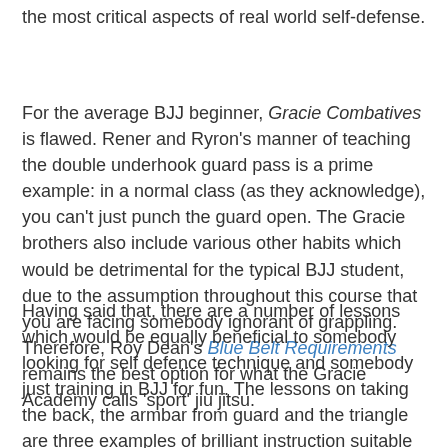the most critical aspects of real world self-defense.
For the average BJJ beginner, Gracie Combatives is flawed. Rener and Ryron's manner of teaching the double underhook guard pass is a prime example: in a normal class (as they acknowledge), you can't just punch the guard open. The Gracie brothers also include various other habits which would be detrimental for the typical BJJ student, due to the assumption throughout this course that you are facing somebody ignorant of grappling. Therefore, Roy Dean's Blue Belt Requirements remains the best option for what the Gracie Academy calls 'sport' jiu jitsu.
Having said that, there are a number of lessons which would be equally beneficial to somebody looking for self defence technique and somebody just training in BJJ for fun. The lessons on taking the back, the armbar from guard and the triangle are three examples of brilliant instruction suitable for everybody. I'm not sure that is enough to justify the course for anyone not looking for self-defence, though it might be